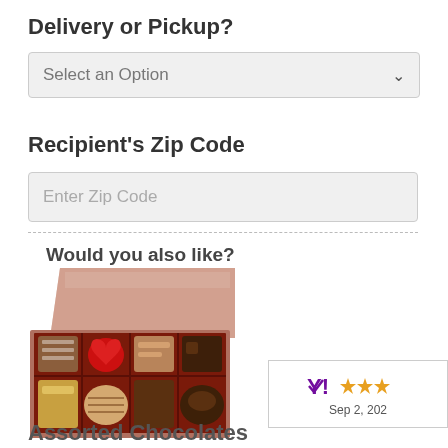Delivery or Pickup?
Select an Option
Recipient's Zip Code
Enter Zip Code
Would you also like?
[Figure (photo): Box of assorted chocolates with lid partially open, showing various chocolate pieces including a red heart-shaped chocolate]
[Figure (other): Yahoo Shopping rating badge showing 3 stars and date Sep 2, 202x]
Assorted Chocolates